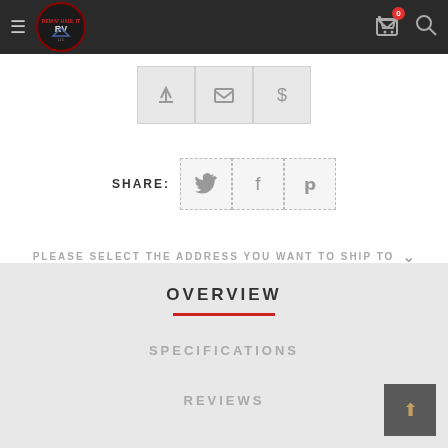Navigation bar with logo and cart
[Figure (screenshot): Three action icon buttons: share arrow, envelope/email, and dollar sign, displayed in a horizontal row with light gray background]
SHARE:
[Figure (screenshot): Three social share buttons: Twitter bird icon, Facebook f icon, Pinterest p icon, displayed in a horizontal row with dashed borders]
PLEASE SELECT THE ADDRESS YOU WANT TO SHIP TO
OVERVIEW
SPECIFICATIONS
REVIEWS